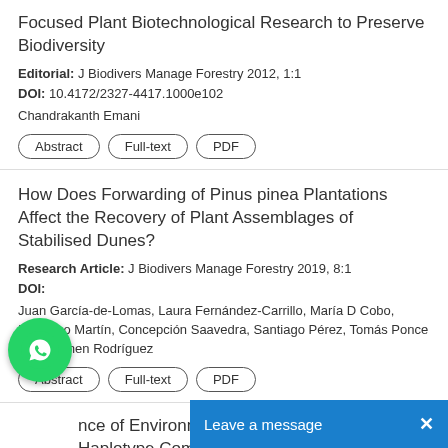Focused Plant Biotechnological Research to Preserve Biodiversity
Editorial: J Biodivers Manage Forestry 2012, 1:1
DOI: 10.4172/2327-4417.1000e102
Chandrakanth Emani
Abstract | Full-text | PDF
How Does Forwarding of Pinus pinea Plantations Affect the Recovery of Plant Assemblages of Stabilised Dunes?
Research Article: J Biodivers Manage Forestry 2019, 8:1
DOI:
Juan García-de-Lomas, Laura Fernández-Carrillo, María D Cobo, Ildefonso Martín, Concepción Saavedra, Santiago Pérez, Tomás Ponce and Carmen Rodríguez
Abstract | Full-text | PDF
nce of Environment and Space on Haplotype Composition Structure of Populations of Chrysanthemum indicum